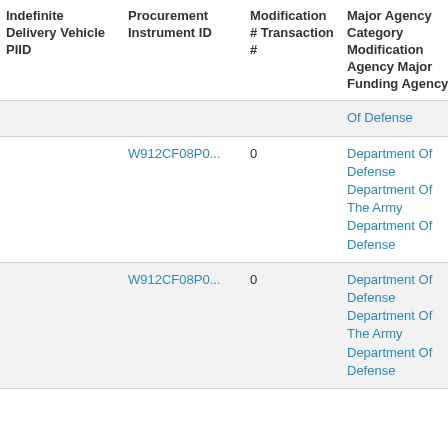| Indefinite Delivery Vehicle PIID | Procurement Instrument ID | Modification # Transaction # | Major Agency Category Modification Agency Major Funding Agency | Produ Service Code |
| --- | --- | --- | --- | --- |
|  |  |  | Of Defense | Z1dg- |
|  | W912CF08P0... | 0 | Department Of Defense Department Of The Army Department Of Defense | Z111: Maint-Rep-Alt/Off Bldgs |
|  | W912CF08P0... | 0 | Department Of Defense Department Of The Army Department Of Defense | Z111: Maint-Rep-Alt/Off Bldgs |